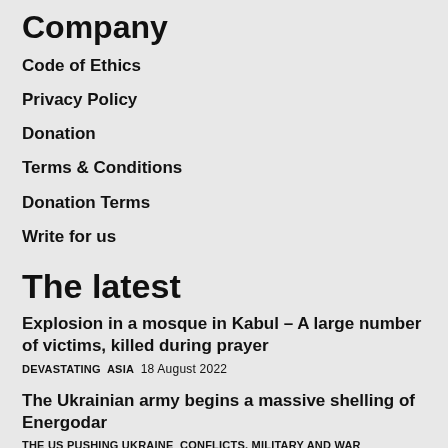Company
Code of Ethics
Privacy Policy
Donation
Terms & Conditions
Donation Terms
Write for us
The latest
Explosion in a mosque in Kabul – A large number of victims, killed during prayer
DEVASTATING  ASIA  18 August 2022
The Ukrainian army begins a massive shelling of Energodar
THE US PUSHING UKRAINE  CONFLICTS, MILITARY AND WAR  18 August 2022
UN's drops bomb on the crypto world – "All that